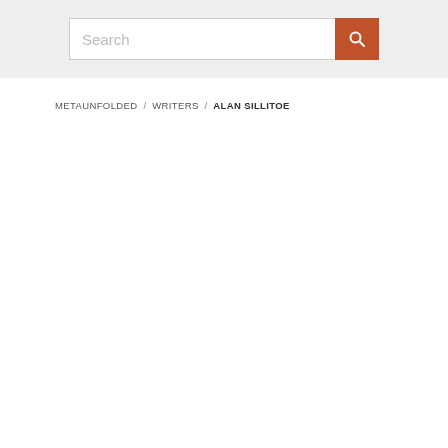[Figure (screenshot): Search bar with text input placeholder 'Search' and an orange search button with a magnifying glass icon, on a light grey background.]
METAUNFOLDED / WRITERS / ALAN SILLITOE